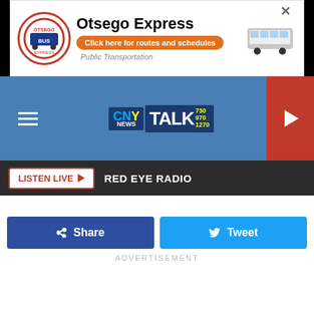[Figure (screenshot): Otsego Express advertisement banner with circular logo, title text, orange click button, and bus image]
[Figure (logo): CNY News Talk radio logo with blue background, CNY in blue/yellow, TALK in white with frequency numbers 730 970 1270]
LISTEN LIVE ▶  RED EYE RADIO
Share
Tweet
ADVERTISEMENT